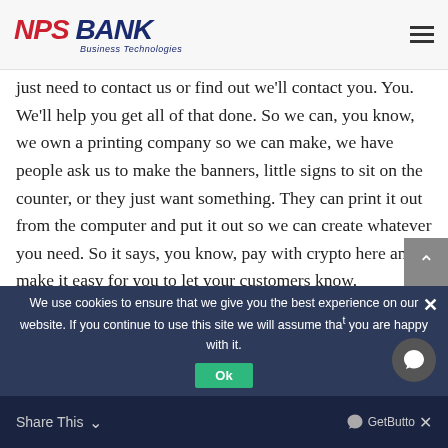NPS BANK Business Technologies
just need to contact us or find out we'll contact you. You. We'll help you get all of that done. So we can, you know, we own a printing company so we can make, we have people ask us to make the banners, little signs to sit on the counter, or they just want something. They can print it out from the computer and put it out so we can create whatever you need. So it says, you know, pay with crypto here and make it easy for you to let your customers know.
We use cookies to ensure that we give you the best experience on our website. If you continue to use this site we will assume that you are happy with it.
Share This    GetButto